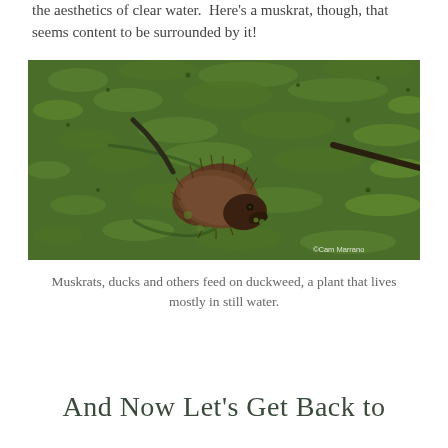the aesthetics of clear water.  Here's a muskrat, though, that seems content to be surrounded by it!
[Figure (photo): A muskrat swimming through dense green duckweed-covered still water. The animal has dark brown shaggy wet fur and is moving through the green plant coverage. Photo credit: ©Cam Marrano]
Muskrats, ducks and others feed on duckweed, a plant that lives mostly in still water.
And Now Let's Get Back to